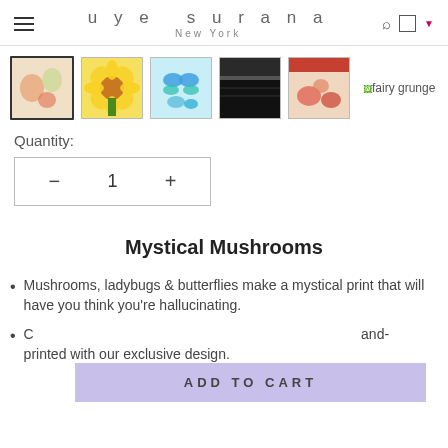uye surana New York
[Figure (screenshot): Row of 5 fabric thumbnail images plus a text label 'fairy grunge']
Quantity:
— 1 +
Mystical Mushrooms
Mushrooms, ladybugs & butterflies make a mystical print that will have you think you're hallucinating.
C[obscured by overlay]and-printed with our exclusive design.
ADD TO CART